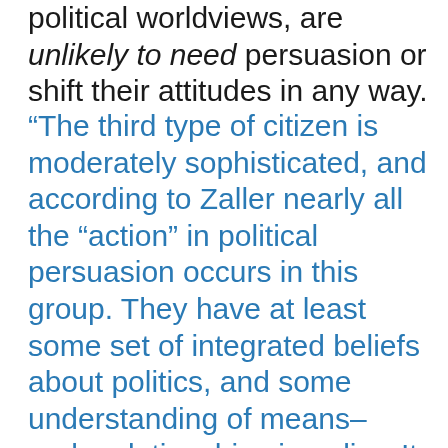political worldviews, are unlikely to need persuasion or shift their attitudes in any way.
“The third type of citizen is moderately sophisticated, and according to Zaller nearly all the “action” in political persuasion occurs in this group. They have at least some set of integrated beliefs about politics, and some understanding of means–ends relationships in policy. It is likely that they will pay attention to, and perhaps be convinced by, arguments that offer evidence for one position or another. And since many in this group are undecided in the early portions of campaigns, they provide a useful set of recruits for candidates and consultants. Unfortunately, since they also lack deep knowledge of policy problems, and have